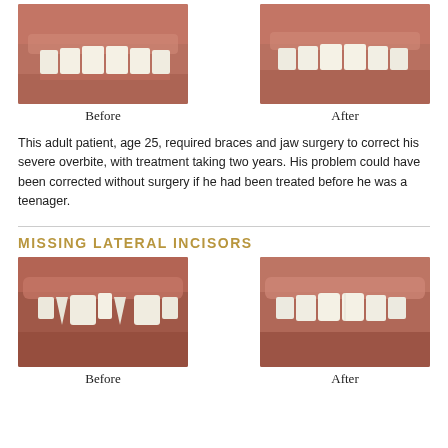[Figure (photo): Before photo showing patient's teeth with severe overbite, top view]
[Figure (photo): After photo showing patient's teeth corrected, top view]
Before
After
This adult patient, age 25, required braces and jaw surgery to correct his severe overbite, with treatment taking two years. His problem could have been corrected without surgery if he had been treated before he was a teenager.
MISSING LATERAL INCISORS
[Figure (photo): Before photo showing patient's teeth with missing lateral incisors]
[Figure (photo): After photo showing patient's teeth with missing lateral incisors corrected]
Before
After